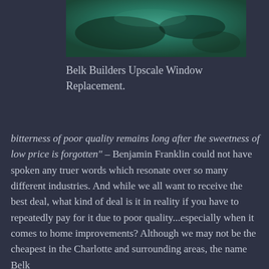[Figure (photo): Aerial or close-up photo with teal/green tones, appears to show a landscape or textured surface from above]
Belk Builders Upscale Window Replacement.
bitterness of poor quality remains long after the sweetness of low price is forgotten" – Benjamin Franklin could not have spoken any truer words which resonate over so many different industries. And while we all want to receive the best deal, what kind of deal is it in reality if you have to repeatedly pay for it due to poor quality...especially when it comes to home improvements? Although we may not be the cheapest in the Charlotte and surrounding areas, the name Belk